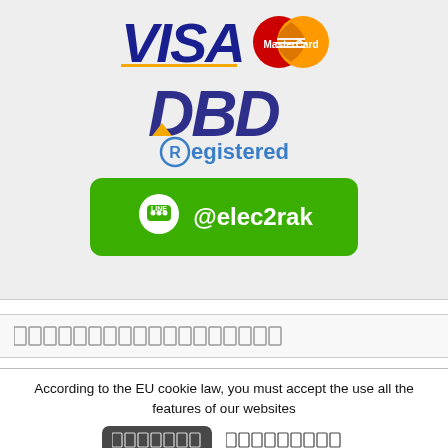[Figure (logo): VISA and MasterCard logos side by side]
[Figure (logo): DBD Registered logo with italic purple DBD text and blue Registered label]
[Figure (logo): LINE @elec2rak green button with LINE chat bubble icon]
Thai language text (placeholder boxes)
According to the EU cookie law, you must accept the use all the features of our websites
Accept button and Reject link with Thai text